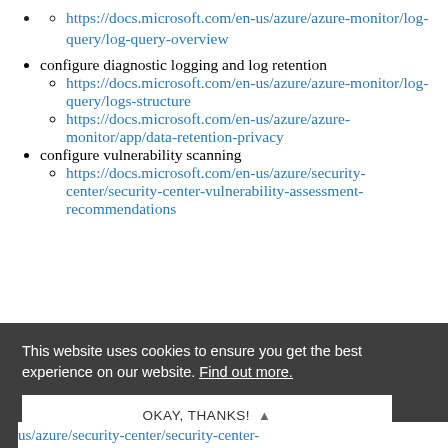https://docs.microsoft.com/en-us/azure/azure-monitor/log-query/log-query-overview
configure diagnostic logging and log retention
https://docs.microsoft.com/en-us/azure/azure-monitor/log-query/logs-structure
https://docs.microsoft.com/en-us/azure/azure-monitor/app/data-retention-privacy
configure vulnerability scanning
https://docs.microsoft.com/en-us/azure/security-center/security-center-vulnerability-assessment-recommendations
This website uses cookies to ensure you get the best experience on our website. Find out more.
OKAY, THANKS!
us/azure/security-center/security-center-